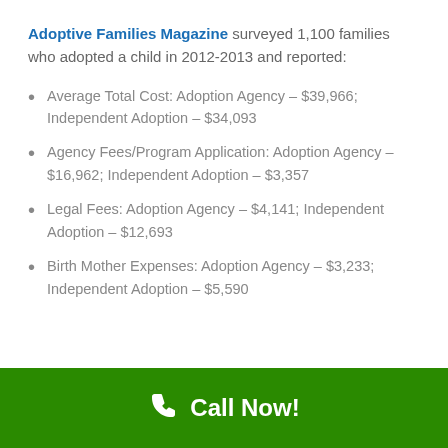Adoptive Families Magazine surveyed 1,100 families who adopted a child in 2012-2013 and reported:
Average Total Cost: Adoption Agency – $39,966; Independent Adoption – $34,093
Agency Fees/Program Application: Adoption Agency – $16,962; Independent Adoption – $3,357
Legal Fees: Adoption Agency – $4,141; Independent Adoption – $12,693
Birth Mother Expenses: Adoption Agency – $3,233; Independent Adoption – $5,590
Call Now!